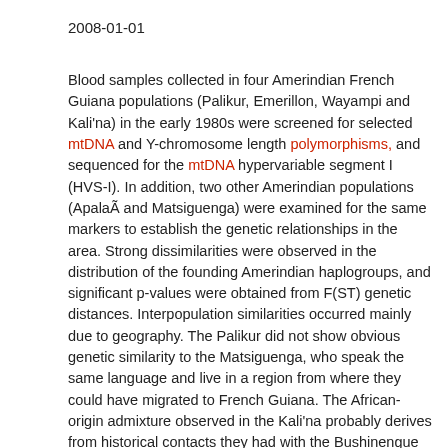2008-01-01
Blood samples collected in four Amerindian French Guiana populations (Palikur, Emerillon, Wayampi and Kali'na) in the early 1980s were screened for selected mtDNA and Y-chromosome length polymorphisms, and sequenced for the mtDNA hypervariable segment I (HVS-I). In addition, two other Amerindian populations (ApalaÃ and Matsiguenga) were examined for the same markers to establish the genetic relationships in the area. Strong dissimilarities were observed in the distribution of the founding Amerindian haplogroups, and significant p-values were obtained from F(ST) genetic distances. Interpopulation similarities occurred mainly due to geography. The Palikur did not show obvious genetic similarity to the Matsiguenga, who speak the same language and live in a region from where they could have migrated to French Guiana. The African-origin admixture observed in the Kali'na probably derives from historical contacts they had with the Bushinengue (Noir Marron), a group of escaped slaves who now lead independent lives in a nearby region. This analysis has identified significant clues about the Amerindian peopling of the North-East Amazonian region.